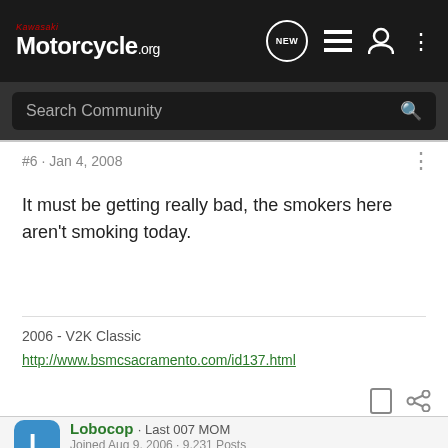Kawasaki Motorcycle.org — NEW [navigation icons]
Search Community
#6 · Jan 4, 2008
It must be getting really bad, the smokers here aren't smoking today.
2006 - V2K Classic
http://www.bsmcsacramento.com/id137.html
Lobocop · Last 007 MOM
Joined Aug 9, 2006 · 9,231 Posts